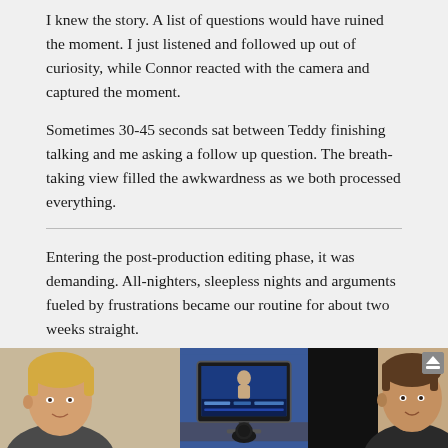I knew the story. A list of questions would have ruined the moment. I just listened and followed up out of curiosity, while Connor reacted with the camera and captured the moment.
Sometimes 30-45 seconds sat between Teddy finishing talking and me asking a follow up question. The breath-taking view filled the awkwardness as we both processed everything.
Entering the post-production editing phase, it was demanding. All-nighters, sleepless nights and arguments fueled by frustrations became our routine for about two weeks straight.
We had gathered over 12 hours of footage from interviews to creative video shoots and candids. The family had completely welcomed us into their lives and poured their hearts out to us. Now, Connor and I had to take everything, condense it down to 12 minutes, and retell it.
[Figure (photo): A photo strip at the bottom showing two people (one on left with blond hair, one on right) and a computer monitor in the center showing video editing software with a silhouette figure on screen, and a microphone visible.]